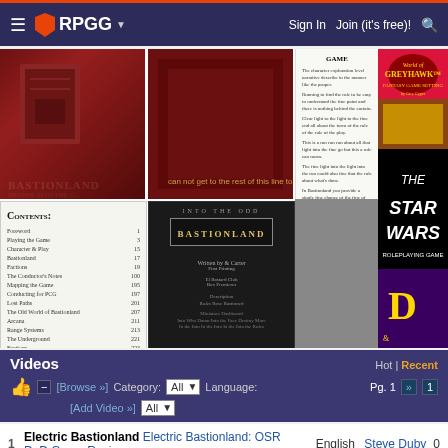RPGG | Sign In | Join (it's free)!
[Figure (screenshot): Book cover collage showing Bastionland covers in red/dark tones, a text page, table of contents, and Into the Odd Bastionland black cover. Right side shows World of Greyhawk, Star Wars Roleplaying Game, and D&D advertisements.]
Videos
Hot | Recent
[Browse »] [Add Video »] Category: All Language: All Pg. 1
1 Electric Bastionland Electric Bastionland: OSR DnD Game Review English Steve Duby 0
Forums
Top | Recent | Active
[Forums »] [Post »] [Search »]